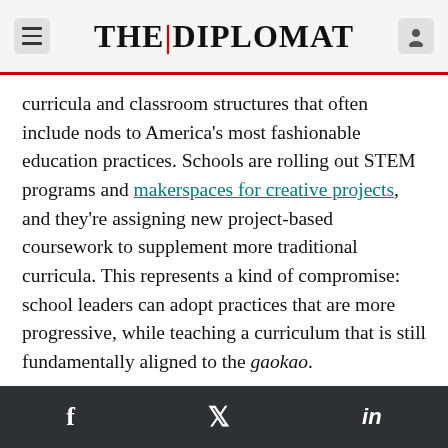THE | DIPLOMAT
curricula and classroom structures that often include nods to America's most fashionable education practices. Schools are rolling out STEM programs and makerspaces for creative projects, and they're assigning new project-based coursework to supplement more traditional curricula. This represents a kind of compromise: school leaders can adopt practices that are more progressive, while teaching a curriculum that is still fundamentally aligned to the gaokao.
A concern with this approach is that pressure to align everything to the gaokao is so powerful that progressive-sounding programs can often amount
f   𝕏   in